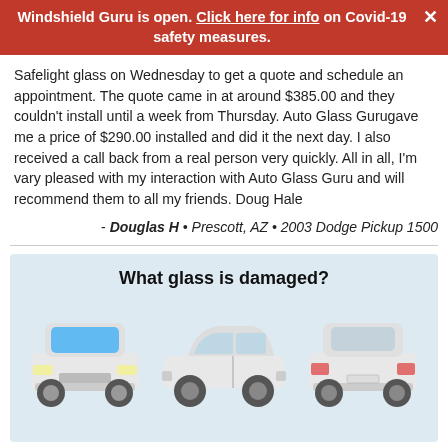Windshield Guru is open. Click here for info on Covid-19 safety measures.
Safelight glass on Wednesday to get a quote and schedule an appointment. The quote came in at around $385.00 and they couldn't install until a week from Thursday. Auto Glass Gurugave me a price of $290.00 installed and did it the next day. I also received a call back from a real person very quickly. All in all, I'm vary pleased with my interaction with Auto Glass Guru and will recommend them to all my friends. Doug Hale
- Douglas H • Prescott, AZ • 2003 Dodge Pickup 1500
[Figure (illustration): Light blue background section titled 'What glass is damaged?' showing three car views: front view with blue windshield highlighted, side view, and rear view of a white sedan.]
We use cookies to enhance your experience.